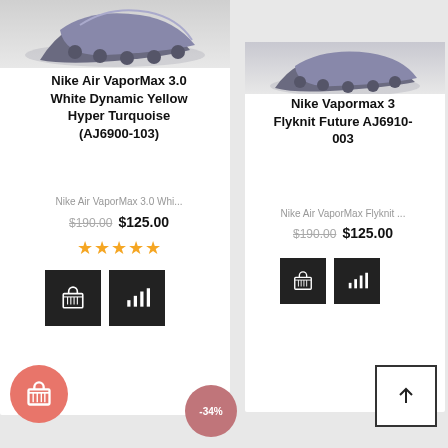[Figure (photo): Nike Air VaporMax 3.0 shoe product image, top-left card]
Nike Air VaporMax 3.0 White Dynamic Yellow Hyper Turquoise (AJ6900-103)
Nike Air VaporMax 3.0 Whi...
$190.00  $125.00
★★★★★
[Figure (photo): Nike Vapormax 3 Flyknit Future shoe product image, top-right card]
Nike Vapormax 3 Flyknit Future AJ6910-003
Nike Air VaporMax Flyknit ...
$190.00  $125.00
-34%